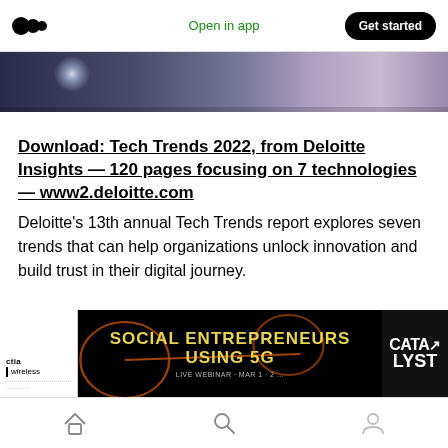Medium logo | Open in app | Get started
[Figure (photo): Dark blurred background image strip with a light orb/lens flare]
Download: Tech Trends 2022, from Deloitte Insights — 120 pages focusing on 7 technologies — www2.deloitte.com
Deloitte's 13th annual Tech Trends report explores seven trends that can help organizations unlock innovation and build trust in their digital journey.
[Figure (advertisement): CTIA Wireless ad banner reading 'SOCIAL ENTREPRENEURS USING 5G' with CATALYST logo]
Mobile navigation bar with home, search, and profile icons